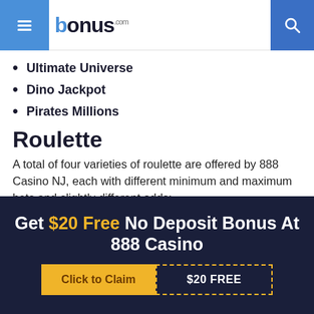bonus.com
Ultimate Universe
Dino Jackpot
Pirates Millions
Roulette
A total of four varieties of roulette are offered by 888 Casino NJ, each with different minimum and maximum bets and slightly different odds:
Roulette: Includes zero, double-zero, and 1 to 36. The minimum bet is $1; max bet per spot is $100 and max total is $300.
European roulette: Includes zero and 1 to 36.
Get $20 Free No Deposit Bonus At 888 Casino